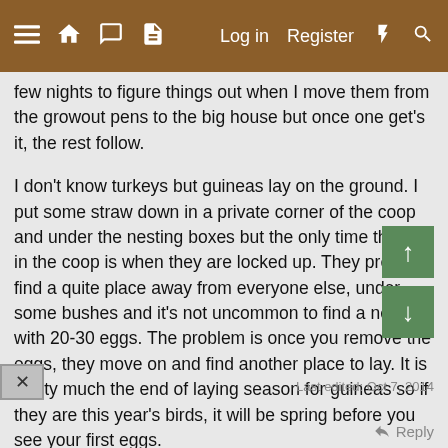≡ 🏠 💬 📄   Log in   Register   ⚡   🔍
few nights to figure things out when I move them from the growout pens to the big house but once one get's it, the rest follow.
I don't know turkeys but guineas lay on the ground. I put some straw down in a private corner of the coop and under the nesting boxes but the only time they lay in the coop is when they are locked up. They prefer to find a quite place away from everyone else, under some bushes and it's not uncommon to find a nest with 20-30 eggs. The problem is once you remove the eggs, they move on and find another place to lay. It is pretty much the end of laying season for guineas so if they are this year's birds, it will be spring before you see your first eggs.
What color eggs do the 14 panties lay? Couldn't figure out #3. Eaves? Overhang?
Last edited: Oct 7, 2014